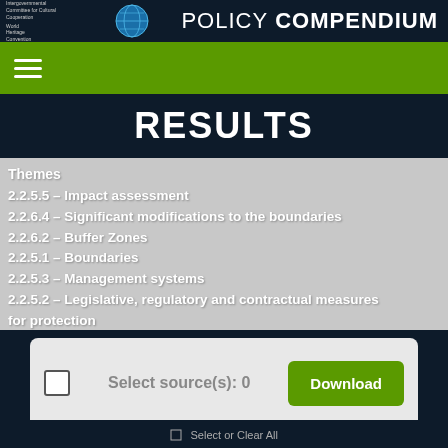POLICY COMPENDIUM
RESULTS
Themes
2.2.5.5 – Impact assessment
2.2.6.4 – Significant modifications to the boundaries
2.2.6.2 – Buffer Zones
2.2.5.1 – Boundaries
2.2.5.3 – Management systems
2.2.5.2 – Legislative, regulatory and contractual measures for protection
2.7.4 – Cultural Landscapes
2.2.6 – Boundaries and buffer zones
2.2.3 – Authenticity
2.2.2 – World Heritage criteria
Select source(s): 0
Download
Select or Clear All